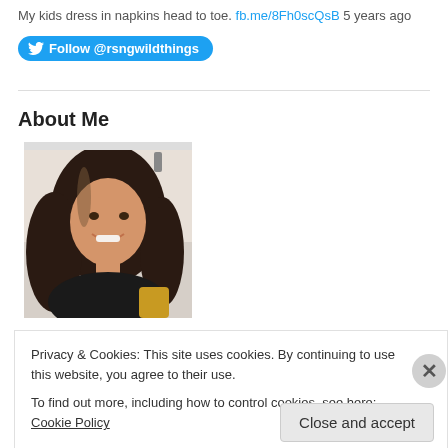My kids dress in napkins head to toe. fb.me/8Fh0scQsB 5 years ago
[Figure (other): Twitter Follow button: Follow @rsngwildthings]
About Me
[Figure (photo): Profile photo of a woman with long dark hair, smiling]
Privacy & Cookies: This site uses cookies. By continuing to use this website, you agree to their use.
To find out more, including how to control cookies, see here: Cookie Policy
Close and accept